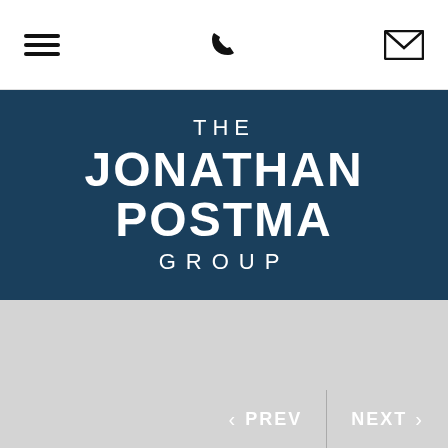Navigation bar with menu, phone, and mail icons
THE JONATHAN POSTMA GROUP
[Figure (other): Gray placeholder content area]
< PREV | NEXT >